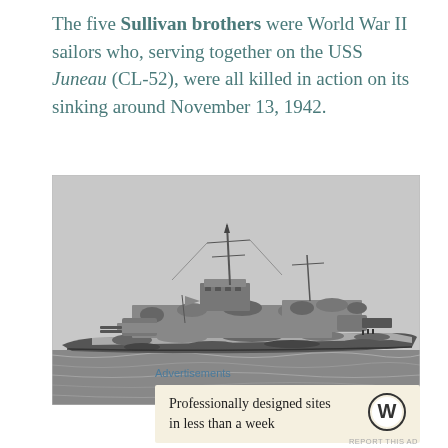The five Sullivan brothers were World War II sailors who, serving together on the USS Juneau (CL-52), were all killed in action on its sinking around November 13, 1942.
[Figure (photo): Black and white photograph of the USS Juneau (CL-52), a World War II naval cruiser with camouflage paint pattern, photographed on the water.]
Advertisements
Professionally designed sites in less than a week
REPORT THIS AD